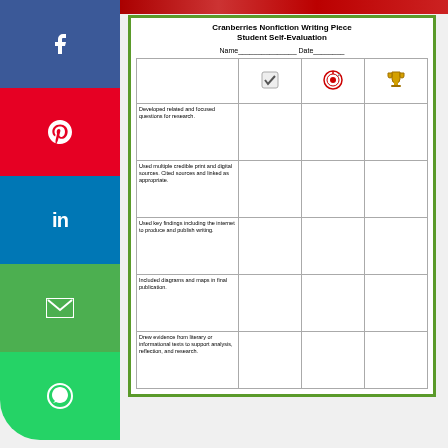[Figure (screenshot): Social media share sidebar with Facebook (blue), Pinterest (red), LinkedIn (blue), Email (green), WhatsApp (green) buttons]
[Figure (screenshot): Worksheet titled 'Cranberries Nonfiction Writing Piece Student Self-Evaluation' with a table containing criteria rows and icon columns (checkmark, target, trophy)]
anberries Revealed by Wayne R. Martin is
We use cookies to optimize our website and our service. We never share or sell your information.
Accept